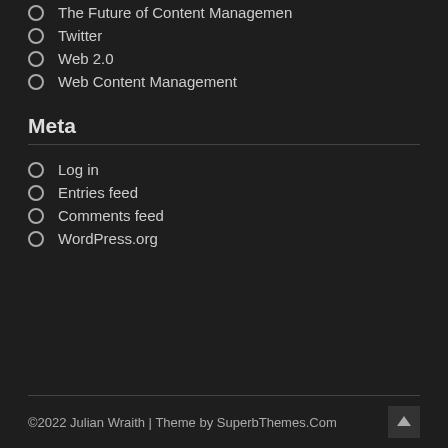The Future of Content Managemen
Twitter
Web 2.0
Web Content Management
Meta
Log in
Entries feed
Comments feed
WordPress.org
©2022 Julian Wraith | Theme by SuperbThemes.Com